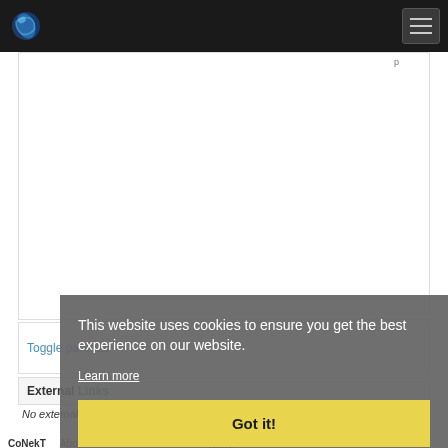CoNekT website navigation bar with logo and hamburger menu
[Figure (screenshot): White content box area with partial text visible at top right]
Toggle parental
External Links
No external refs found!
CoNekT   About   Contact   Disclaimer   Privacy policy
This website uses cookies to ensure you get the best experience on our website. Learn more Got it!